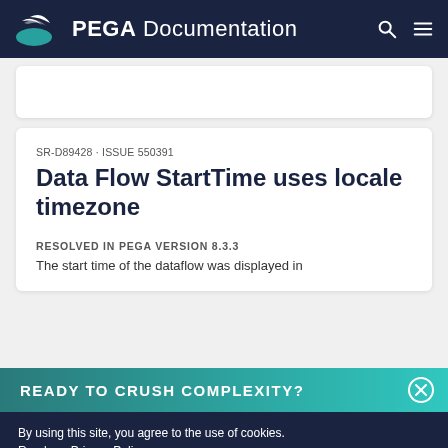PEGA Documentation
SR-D89428 · ISSUE 550391
Data Flow StartTime uses locale timezone
RESOLVED IN PEGA VERSION 8.3.3
The start time of the dataflow was displayed in
READY TO CRUSH COMPLEXITY?
By using this site, you agree to the use of cookies. Read our Privacy Policy
Accept and continue
About cookies